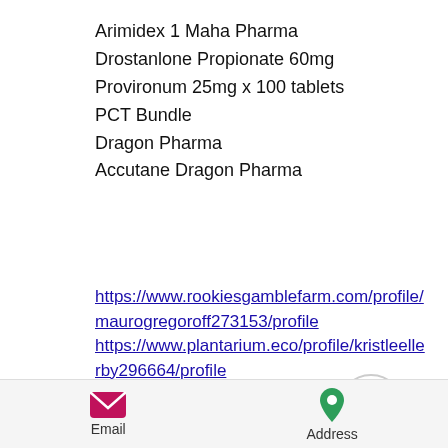Arimidex 1 Maha Pharma
Drostanlone Propionate 60mg
Provironum 25mg x 100 tablets
PCT Bundle
Dragon Pharma
Accutane Dragon Pharma
https://www.rookiesgamblefarm.com/profile/maurogregoroff273153/profile https://www.plantarium.eco/profile/kristleellerby296664/profile https://www.lakesidecharteracademy.com/profile/kraigbernson465465/profile https://www.bleuwynteraustralianshepherds.com/profile/marlinpaskett1393128/profile
Email  Address